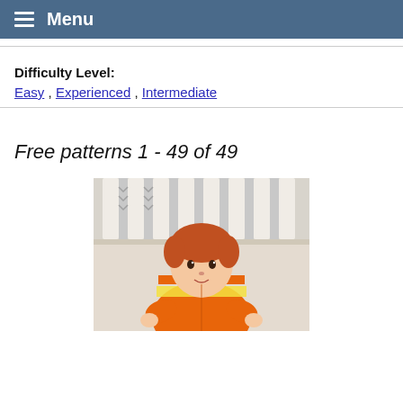Menu
Difficulty Level:
Easy , Experienced , Intermediate
Free patterns 1 - 49 of 49
[Figure (photo): Baby wearing an orange and yellow striped knitted cardigan, sitting in front of a white crib with grey chevron-patterned fabric. Baby has red hair and is looking at the camera.]